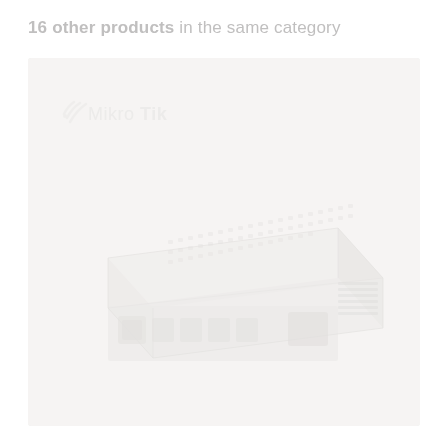16 other products in the same category
[Figure (photo): MikroTik router/switch product photo. A white rectangular network device with ventilation holes on top and multiple ethernet/SFP ports on the front face. The MikroTik logo is visible in the top-left area of the image. The image is very light/washed out with minimal contrast.]